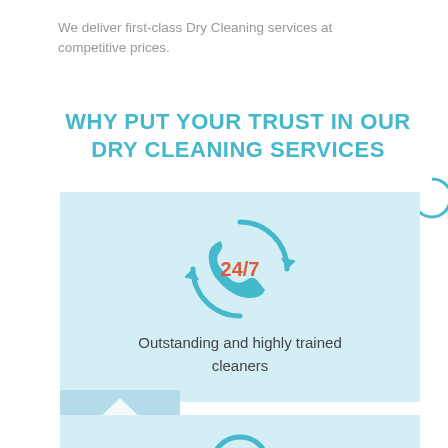We deliver first-class Dry Cleaning services at competitive prices.
WHY PUT YOUR TRUST IN OUR DRY CLEANING SERVICES
[Figure (infographic): Light blue box with a 24/7 phone icon (teal circular arrows around a phone handset with red 24/7 text) and text 'Outstanding and highly trained cleaners']
[Figure (infographic): Partial light blue box at bottom with a teal triangle icon on left and beginning of another circular icon at the bottom center]